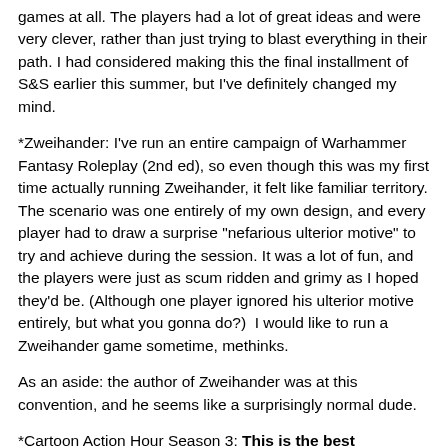games at all. The players had a lot of great ideas and were very clever, rather than just trying to blast everything in their path. I had considered making this the final installment of S&S earlier this summer, but I've definitely changed my mind.
*Zweihander: I've run an entire campaign of Warhammer Fantasy Roleplay (2nd ed), so even though this was my first time actually running Zweihander, it felt like familiar territory. The scenario was one entirely of my own design, and every player had to draw a surprise "nefarious ulterior motive" to try and achieve during the session. It was a lot of fun, and the players were just as scum ridden and grimy as I hoped they'd be. (Although one player ignored his ulterior motive entirely, but what you gonna do?)  I would like to run a Zweihander game sometime, methinks.
As an aside: the author of Zweihander was at this convention, and he seems like a surprisingly normal dude.
*Cartoon Action Hour Season 3: This is the best convention game I have ever run, ever. At one point I was